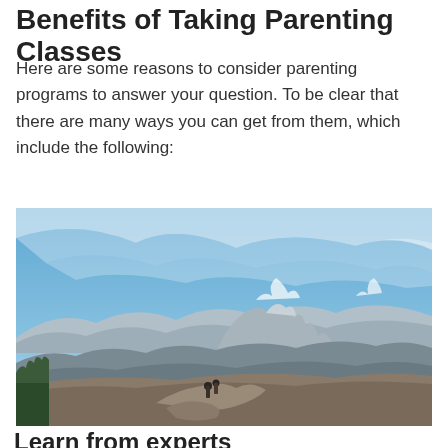Benefits of Taking Parenting Classes
Here are some reasons to consider parenting programs to answer your question. To be clear that there are many ways you can get from them, which include the following:
[Figure (photo): Two people standing on a rocky peak overlooking a mountain landscape with Half Dome visible in the background under a blue sky with wispy clouds, Yosemite National Park.]
Learn from experts